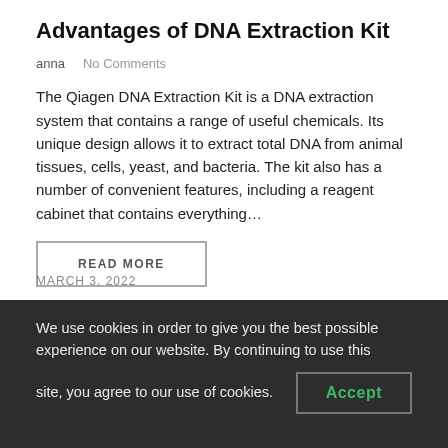Advantages of DNA Extraction Kit
anna   No Comments
The Qiagen DNA Extraction Kit is a DNA extraction system that contains a range of useful chemicals. Its unique design allows it to extract total DNA from animal tissues, cells, yeast, and bacteria. The kit also has a number of convenient features, including a reagent cabinet that contains everything…
READ MORE
MARCH 3, 2022
We use cookies in order to give you the best possible experience on our website. By continuing to use this site, you agree to our use of cookies.   Accept